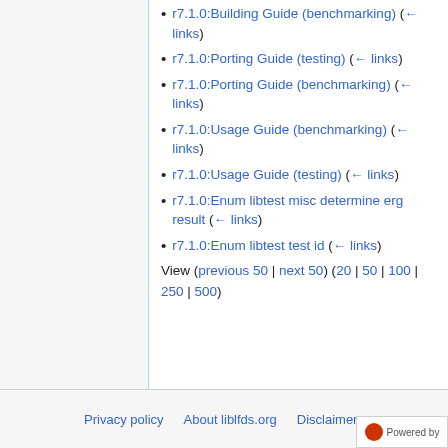r7.1.0:Building Guide (benchmarking)  (← links)
r7.1.0:Porting Guide (testing)  (← links)
r7.1.0:Porting Guide (benchmarking)  (← links)
r7.1.0:Usage Guide (benchmarking)  (← links)
r7.1.0:Usage Guide (testing)  (← links)
r7.1.0:Enum libtest misc determine erg result  (← links)
r7.1.0:Enum libtest test id  (← links)
View (previous 50 | next 50) (20 | 50 | 100 | 250 | 500)
Privacy policy   About liblfds.org   Disclaimers